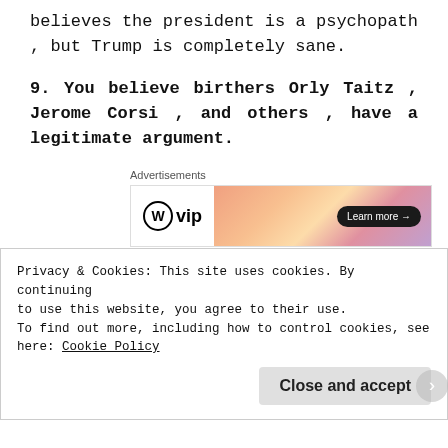believes the president is a psychopath , but Trump is completely sane.
9. You believe birthers Orly Taitz , Jerome Corsi , and others , have a legitimate argument.
[Figure (other): WordPress VIP advertisement banner with gradient orange-pink background and 'Learn more' button]
10. You believe Donald Trump is not like Hitler
Privacy & Cookies: This site uses cookies. By continuing to use this website, you agree to their use. To find out more, including how to control cookies, see here: Cookie Policy
Close and accept